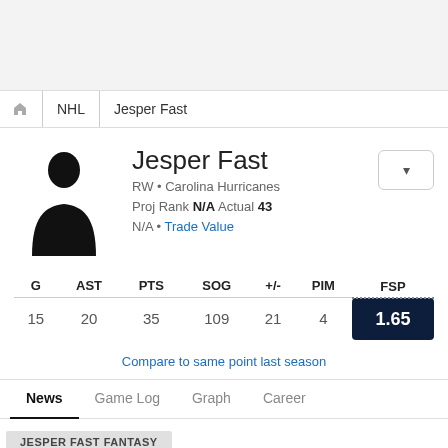NHL · Jesper Fast
Jesper Fast
RW • Carolina Hurricanes
Proj Rank N/A Actual 43
N/A • Trade Value
| G | AST | PTS | SOG | +/- | PIM | FSP |
| --- | --- | --- | --- | --- | --- | --- |
| 15 | 20 | 35 | 109 | 21 | 4 | 1.65 |
Compare to same point last season
News  Game Log  Graph  Career
JESPER FAST FANTASY